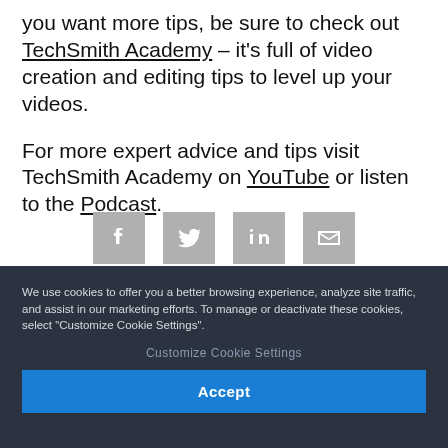you want more tips, be sure to check out TechSmith Academy – it's full of video creation and editing tips to level up your videos.
For more expert advice and tips visit TechSmith Academy on YouTube or listen to the Podcast.
[Figure (other): Row of four social media sharing icons: Facebook, Twitter, LinkedIn, Email (envelope)]
We use cookies to offer you a better browsing experience, analyze site traffic, and assist in our marketing efforts. To manage or deactivate these cookies, select "Customize Cookie Settings".
Customize Cookie Settings
Accept